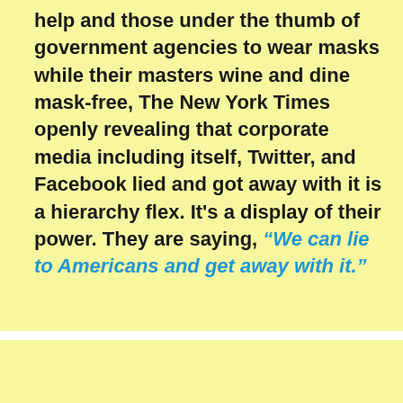help and those under the thumb of government agencies to wear masks while their masters wine and dine mask-free, The New York Times openly revealing that corporate media including itself, Twitter, and Facebook lied and got away with it is a hierarchy flex. It's a display of their power. They are saying, “We can lie to Americans and get away with it.”